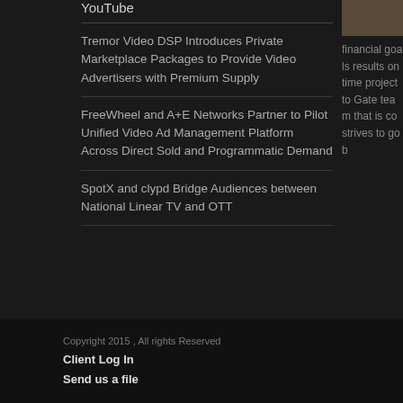YouTube
[Figure (photo): Partial photo visible at top right corner]
financial goals results on time project to Gate team that is co strives to go b
Tremor Video DSP Introduces Private Marketplace Packages to Provide Video Advertisers with Premium Supply
FreeWheel and A+E Networks Partner to Pilot Unified Video Ad Management Platform Across Direct Sold and Programmatic Demand
SpotX and clypd Bridge Audiences between National Linear TV and OTT
Copyright 2015 , All rights Reserved
Client Log In
Send us a file